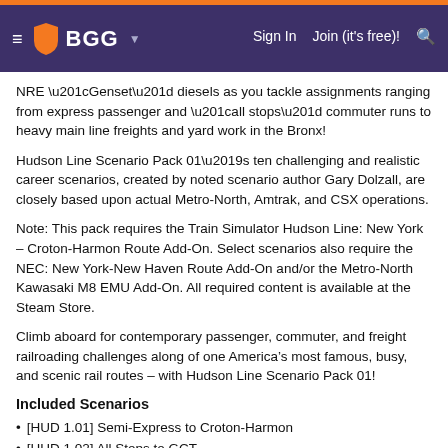BGG — Sign In  Join (it's free)!
NRE “Genset” diesels as you tackle assignments ranging from express passenger and “all stops” commuter runs to heavy main line freights and yard work in the Bronx!
Hudson Line Scenario Pack 01’s ten challenging and realistic career scenarios, created by noted scenario author Gary Dolzall, are closely based upon actual Metro-North, Amtrak, and CSX operations.
Note: This pack requires the Train Simulator Hudson Line: New York – Croton-Harmon Route Add-On. Select scenarios also require the NEC: New York-New Haven Route Add-On and/or the Metro-North Kawasaki M8 EMU Add-On. All required content is available at the Steam Store.
Climb aboard for contemporary passenger, commuter, and freight railroading challenges along of one America’s most famous, busy, and scenic rail routes – with Hudson Line Scenario Pack 01!
Included Scenarios
[HUD 1.01] Semi-Express to Croton-Harmon
[HUD 1.02] All Stops to GCT
[HUD 1.03] Bound for Poughkeepsie
[HUD 1.04] Toronto Bound